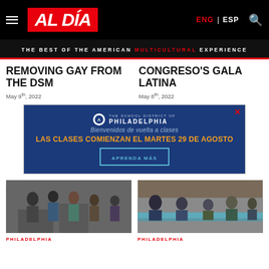AL DÍA — THE BEST OF THE AMERICAN MULTICULTURAL EXPERIENCE — ENG | ESP
REMOVING GAY FROM THE DSM
May 9th, 2022
CONGRESO'S GALA LATINA
May 8th, 2022
[Figure (other): Advertisement for The School District of Philadelphia: Bienvenidos de vuelta a clases / LAS CLASES COMIENZAN EL MARTES 29 DE AGOSTO / APRENDA MÁS]
[Figure (photo): Photo of people at an event, left side — crowd at a gathering]
PHILADELPHIA
[Figure (photo): Photo of people seated at tables at an event, right side]
PHILADELPHIA